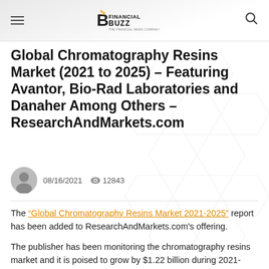Financial Buzz
Global Chromatography Resins Market (2021 to 2025) – Featuring Avantor, Bio-Rad Laboratories and Danaher Among Others – ResearchAndMarkets.com
08/16/2021  👁 12843
The "Global Chromatography Resins Market 2021-2025" report has been added to ResearchAndMarkets.com's offering.
The publisher has been monitoring the chromatography resins market and it is poised to grow by $1.22 billion during 2021-2025, progressing at a CAGR of almost 9%